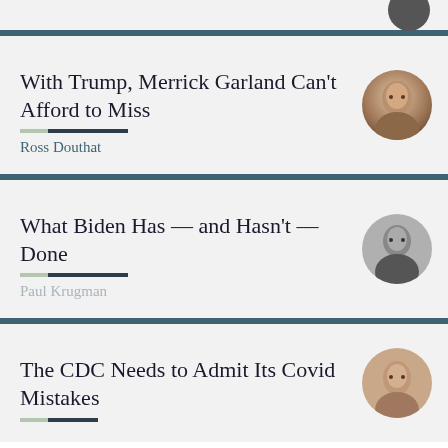With Trump, Merrick Garland Can't Afford to Miss
Ross Douthat
What Biden Has — and Hasn't — Done
Paul Krugman
The CDC Needs to Admit Its Covid Mistakes